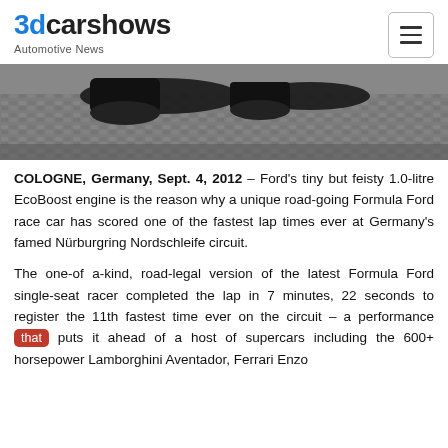3dcarshows Automotive News
[Figure (photo): Close-up photo of car tires on a cobblestone or patterned ground surface, showing the bottom of a vehicle.]
COLOGNE, Germany, Sept. 4, 2012 – Ford's tiny but feisty 1.0-litre EcoBoost engine is the reason why a unique road-going Formula Ford race car has scored one of the fastest lap times ever at Germany's famed Nürburgring Nordschleife circuit.
The one-of a-kind, road-legal version of the latest Formula Ford single-seat racer completed the lap in 7 minutes, 22 seconds to register the 11th fastest time ever on the circuit – a performance that puts it ahead of a host of supercars including the 600+ horsepower Lamborghini Aventador, Ferrari Enzo